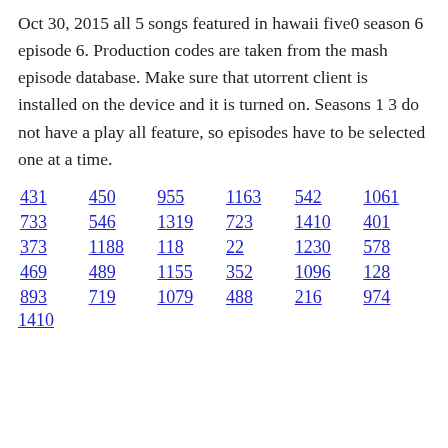Oct 30, 2015 all 5 songs featured in hawaii five0 season 6 episode 6. Production codes are taken from the mash episode database. Make sure that utorrent client is installed on the device and it is turned on. Seasons 1 3 do not have a play all feature, so episodes have to be selected one at a time.
431  450  955  1163  542  1061
733  546  1319  723  1410  401
373  1188  118  22  1230  578
469  489  1155  352  1096  128
893  719  1079  488  216  974
1410